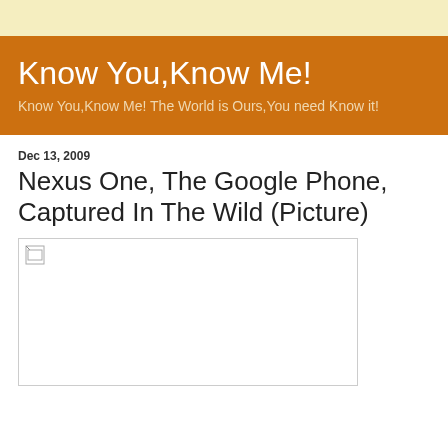Know You,Know Me!
Know You,Know Me!
Know You,Know Me! The World is Ours,You need Know it!
Dec 13, 2009
Nexus One, The Google Phone, Captured In The Wild (Picture)
[Figure (photo): Broken image placeholder for Nexus One Google Phone photo]